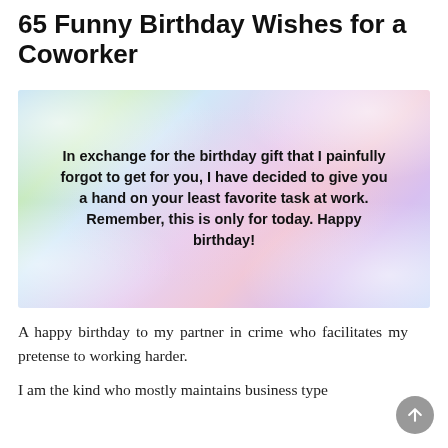65 Funny Birthday Wishes for a Coworker
[Figure (illustration): Colorful holographic glitter gradient background (blues, greens, purples, pinks) with bold black centered text reading: 'In exchange for the birthday gift that I painfully forgot to get for you, I have decided to give you a hand on your least favorite task at work. Remember, this is only for today. Happy birthday!']
A happy birthday to my partner in crime who facilitates my pretense to working harder.
I am the kind who mostly maintains business type